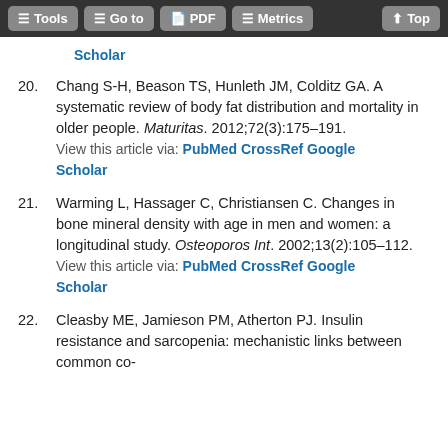Tools | Go to | PDF | Metrics | Top
Scholar (link)
20. Chang S-H, Beason TS, Hunleth JM, Colditz GA. A systematic review of body fat distribution and mortality in older people. Maturitas. 2012;72(3):175–191. View this article via: PubMed CrossRef Google Scholar
21. Warming L, Hassager C, Christiansen C. Changes in bone mineral density with age in men and women: a longitudinal study. Osteoporos Int. 2002;13(2):105–112. View this article via: PubMed CrossRef Google Scholar
22. Cleasby ME, Jamieson PM, Atherton PJ. Insulin resistance and sarcopenia: mechanistic links between common co-